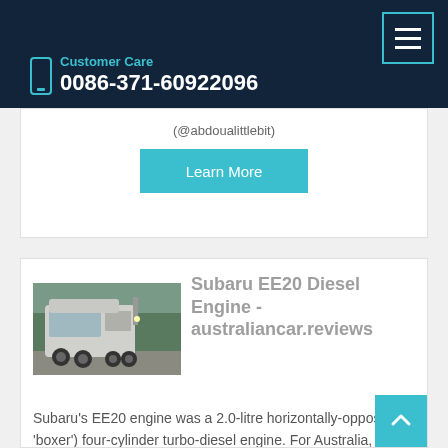Customer Care 0086-371-60922096
(@abdoualittlebit)
Learn More
Subaru EE20 Diesel Engine - australiancar.reviews
[Figure (photo): A large truck/semi-truck photographed from the front-left angle in a parking area with trees in the background.]
Subaru's EE20 engine was a 2.0-litre horizontally-opposed (or 'boxer') four-cylinder turbo-diesel engine. For Australia, the EE20 diesel engine was first offered in the Subaru BR Outback